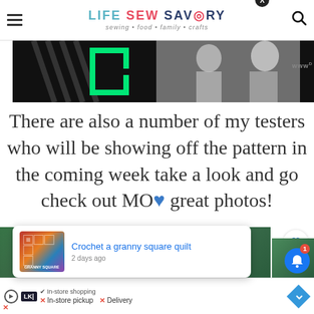LIFE SEW SAVORY — sewing • food • family • crafts
[Figure (screenshot): Advertisement banner showing a dark background with green neon bracket/E logo and children with toy car]
There are also a number of my testers who will be showing off the pattern in the coming week take a look and go check out MORE great photos!
[Figure (screenshot): Popup card overlay: Crochet a granny square quilt thumbnail with title link and '2 days ago' date. X close button. What's Next panel showing Boys Classic Cargo Short....]
[Figure (screenshot): Bottom advertisement bar with play button, LKI logo, In-store shopping, In-store pickup X, Delivery X options, navigation diamond icon]